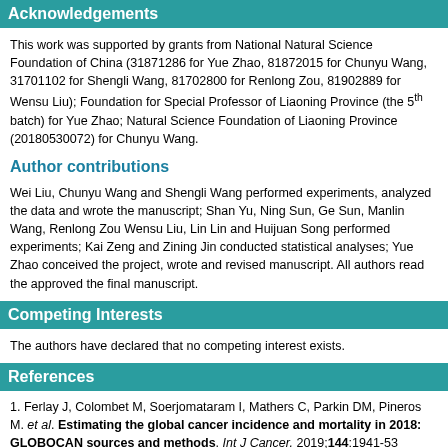Acknowledgements
This work was supported by grants from National Natural Science Foundation of China (31871286 for Yue Zhao, 81872015 for Chunyu Wang, 31701102 for Shengli Wang, 81702800 for Renlong Zou, 81902889 for Wensu Liu); Foundation for Special Professor of Liaoning Province (the 5th batch) for Yue Zhao; Natural Science Foundation of Liaoning Province (20180530072) for Chunyu Wang.
Author contributions
Wei Liu, Chunyu Wang and Shengli Wang performed experiments, analyzed the data and wrote the manuscript; Shan Yu, Ning Sun, Ge Sun, Manlin Wang, Renlong Zou Wensu Liu, Lin Lin and Huijuan Song performed experiments; Kai Zeng and Zining Jin conducted statistical analyses; Yue Zhao conceived the project, wrote and revised manuscript. All authors read the approved the final manuscript.
Competing Interests
The authors have declared that no competing interest exists.
References
1. Ferlay J, Colombet M, Soerjomataram I, Mathers C, Parkin DM, Pineros M. et al. Estimating the global cancer incidence and mortality in 2018: GLOBOCAN sources and methods. Int J Cancer. 2019;144:1941-53
2. Attard G, Parker C, Eeles RA, Schroder F, Tomlins SA, Tannock I. et al.